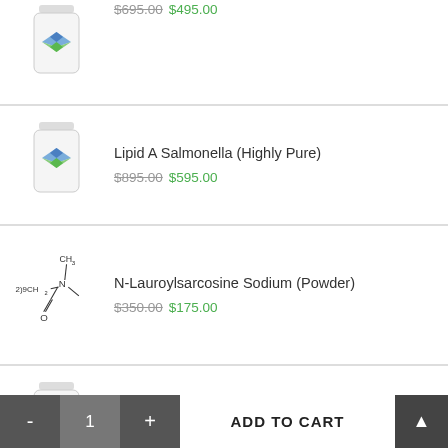[Figure (illustration): Product bottle with blue-green diamond logo (partially visible at top)]
$695.00 $495.00
[Figure (illustration): Product bottle with blue-green diamond logo - Lipid A Salmonella]
Lipid A Salmonella (Highly Pure)
$895.00 $595.00
[Figure (illustration): Chemical structure of N-Lauroylsarcosine Sodium showing CH3, N, CH2, and O groups]
N-Lauroylsarcosine Sodium (Powder)
$350.00 $175.00
[Figure (illustration): Product bottle with blue-green diamond logo - X-Neu5Ac]
X-Neu5Ac (X-Sialic acid, X-NANA)
$695.00 $395.00
Ascorbate Oxidase (Lyophilized powder)
- 1 + ADD TO CART ▲